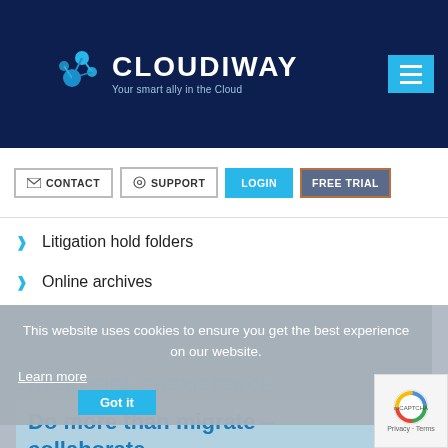[Figure (logo): Cloudiway logo with blue connected dots icon and text 'CLOUDIWAY Your smart ally in the Cloud' on dark navy background, with hamburger menu button]
[Figure (screenshot): Navigation buttons: CONTACT, SUPPORT, LOGIN, FREE TRIAL]
Litigation hold folders
Online archives
[Figure (screenshot): Cookie consent overlay: 'This website uses cookies to ensure you get the best experience on our website. Learn more / Got it']
ENTERPRISE COEXISTENCE
Do more than migrate – collaborate